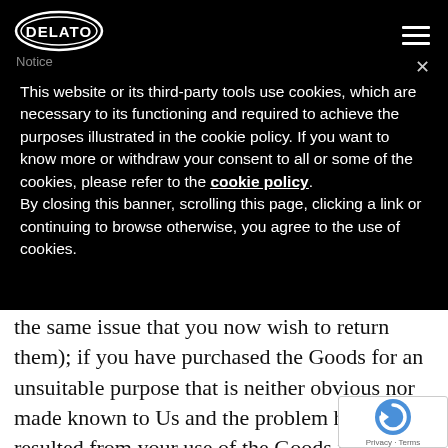[Figure (logo): Delato brand logo in white on black background, oval shape with stylized text]
Notice
This website or its third-party tools use cookies, which are necessary to its functioning and required to achieve the purposes illustrated in the cookie policy. If you want to know more or withdraw your consent to all or some of the cookies, please refer to the cookie policy.
By closing this banner, scrolling this page, clicking a link or continuing to browse otherwise, you agree to the use of cookies.
the same issue that you now wish to return them); if you have purchased the Goods for an unsuitable purpose that is neither obvious nor made known to Us and the problem has resulted from your use of the Goods for that purpose; or if the problem is the result of normal wear and tear, misuse or intentional or careless damage.  Please also note